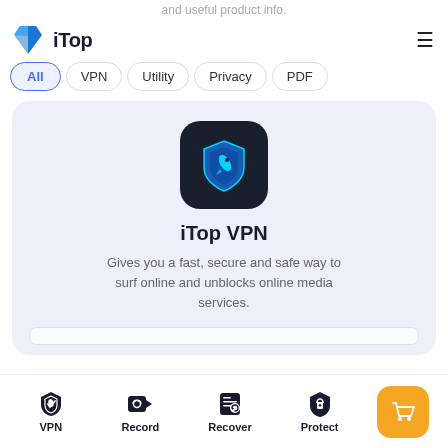and useful product info.
[Figure (logo): iTop logo — blue 3D cube/arrow icon with text 'iTop']
iTop
All
VPN
Utility
Privacy
PDF
[Figure (illustration): iTop VPN app icon — dark rounded square with blue shield and rocket icon]
iTop VPN
Gives you a fast, secure and safe way to surf online and unblocks online media services.
VPN  Record  Recover  Protect